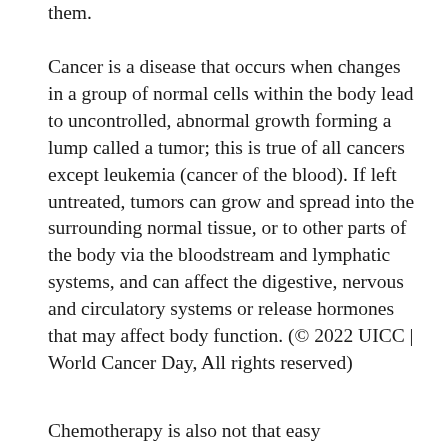them.
Cancer is a disease that occurs when changes in a group of normal cells within the body lead to uncontrolled, abnormal growth forming a lump called a tumor; this is true of all cancers except leukemia (cancer of the blood). If left untreated, tumors can grow and spread into the surrounding normal tissue, or to other parts of the body via the bloodstream and lymphatic systems, and can affect the digestive, nervous and circulatory systems or release hormones that may affect body function. (© 2022 UICC | World Cancer Day, All rights reserved)
Chemotherapy is also not that easy